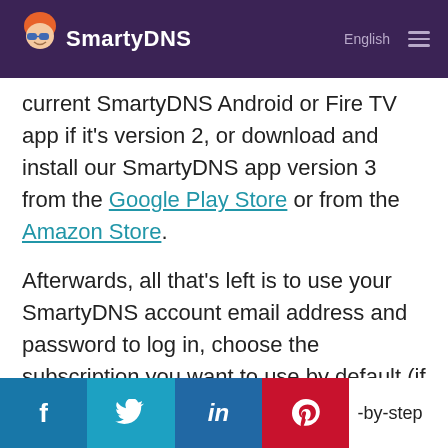SmartyDNS — English
current SmartyDNS Android or Fire TV app if it's version 2, or download and install our SmartyDNS app version 3 from the Google Play Store or from the Amazon Store.
Afterwards, all that's left is to use your SmartyDNS account email address and password to log in, choose the subscription you want to use by default (if you have more than one), and start using our VPN or Smart DNS service.
f  [Twitter bird]  in  [Pinterest]  -by-step